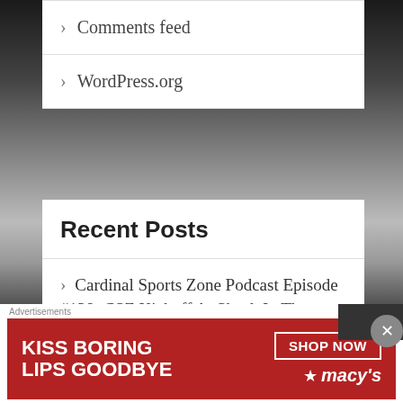[Figure (photo): Black and white background photo of a road/highway with lane markings, showing perspective lines converging to a distant point]
Comments feed
WordPress.org
Recent Posts
Cardinal Sports Zone Podcast Episode #138: CSZ Kickoff At Shack In The Back
Date/Time/Network Set For Louisvill
Advertisements
[Figure (illustration): Macy's advertisement banner: red background with woman with red lipstick, text KISS BORING LIPS GOODBYE, SHOP NOW button, Macy's star logo]